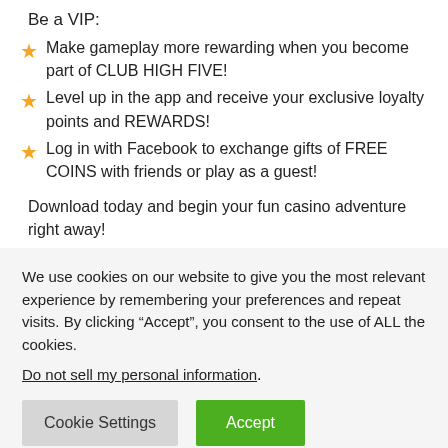Be a VIP:
Make gameplay more rewarding when you become part of CLUB HIGH FIVE!
Level up in the app and receive your exclusive loyalty points and REWARDS!
Log in with Facebook to exchange gifts of FREE COINS with friends or play as a guest!
Download today and begin your fun casino adventure right away!
Get ready to WIN BIG and enjoy EPIC JACKPOTS in Vegas-
We use cookies on our website to give you the most relevant experience by remembering your preferences and repeat visits. By clicking “Accept”, you consent to the use of ALL the cookies.
Do not sell my personal information.